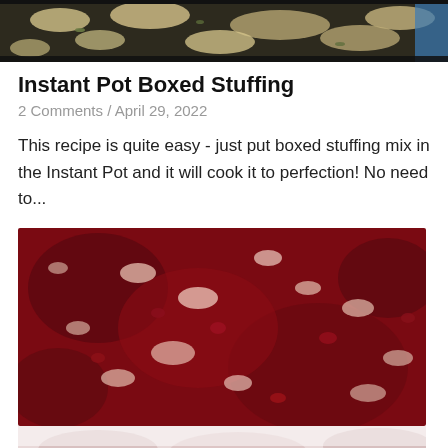[Figure (photo): Top portion of a stuffing dish in a dark pan, partially cropped at the top of the page.]
Instant Pot Boxed Stuffing
2 Comments / April 29, 2022
This recipe is quite easy - just put boxed stuffing mix in the Instant Pot and it will cook it to perfection! No need to...
[Figure (photo): Close-up photo of deep red cranberry sauce with glistening pieces, filling the lower portion of the page.]